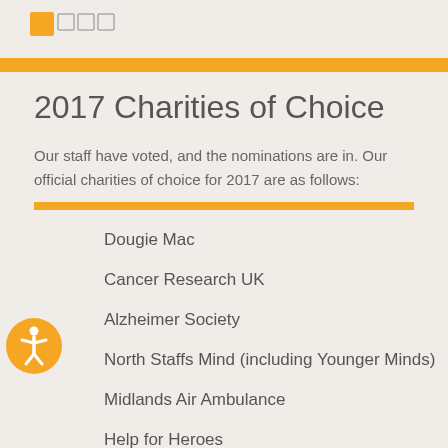[Figure (logo): Orange square logo icon with navigation squares]
2017 Charities of Choice
Our staff have voted, and the nominations are in. Our official charities of choice for 2017 are as follows:
Dougie Mac
Cancer Research UK
Alzheimer Society
North Staffs Mind (including Younger Minds)
Midlands Air Ambulance
Help for Heroes